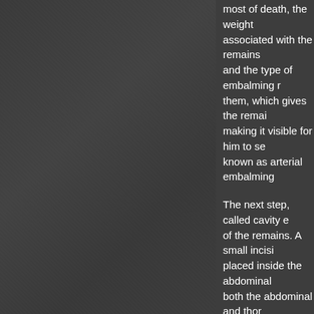[Figure (photo): Dark gray textured background filling the left portion of the page]
most of death, the weight associated with the remains and the type of embalming r them, which gives the remai making it visible for him to se known as arterial embalming
The next step, called cavity e of the remains. A small incisi placed inside the abdominal both the abdominal and thor through suction. A suction pu The trocar is then attached t each organ, causing a more then sutured closed.
STEP 4: Washing
The funeral director then wa solution containing bleach to solvents to remove any stain the hands and face. Blood in then washes the hair, funera
Hairdressing is normally dor
Any hair stubble on the rema removed from all bodies, inc because of medications they